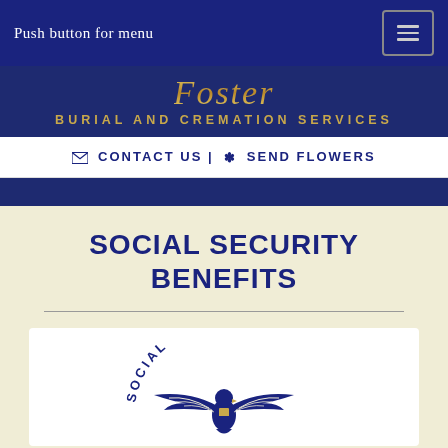Push button for menu
[Figure (logo): Foster Burial and Cremation Services logo with gold script 'Foster' and subtitle 'BURIAL AND CREMATION SERVICES' on navy background]
✉ CONTACT US | ✽ SEND FLOWERS
SOCIAL SECURITY BENEFITS
[Figure (logo): Social Security Administration eagle logo with text 'SOCIAL SECURITY' in a circular arrangement on white background]